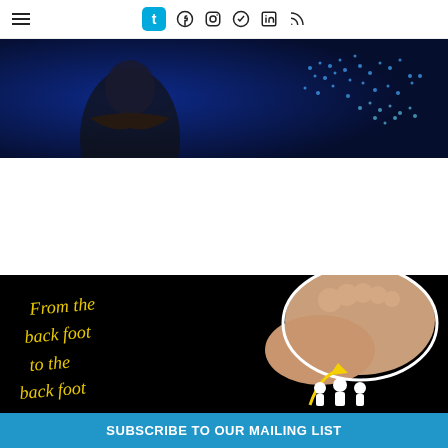Navigation bar with hamburger menu, Tumblr, Facebook, Instagram, Telegram, LinkedIn, RSS icons
[Figure (photo): Dark blue image showing a woman in black clothing with arms crossed, with glowing map/globe graphics on dark blue background]
ZEROTIME – Why the Australian Government Cannot Be Trusted
August 22, 2022
[Figure (photo): Black background image with yellow cursive text reading 'From the back foot to the...' and a large foot illustration with medical professionals below]
SUBSCRIBE TO OUR MAILING LIST